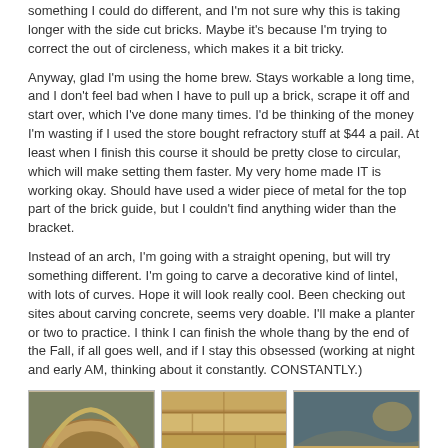something I could do different, and I'm not sure why this is taking longer with the side cut bricks. Maybe it's because I'm trying to correct the out of circleness, which makes it a bit tricky.
Anyway, glad I'm using the home brew. Stays workable a long time, and I don't feel bad when I have to pull up a brick, scrape it off and start over, which I've done many times. I'd be thinking of the money I'm wasting if I used the store bought refractory stuff at $44 a pail. At least when I finish this course it should be pretty close to circular, which will make setting them faster. My very home made IT is working okay. Should have used a wider piece of metal for the top part of the brick guide, but I couldn't find anything wider than the bracket.
Instead of an arch, I'm going with a straight opening, but will try something different. I'm going to carve a decorative kind of lintel, with lots of curves. Hope it will look really cool. Been checking out sites about carving concrete, seems very doable. I'll make a planter or two to practice. I think I can finish the whole thang by the end of the Fall, if all goes well, and if I stay this obsessed (working at night and early AM, thinking about it constantly. CONSTANTLY.)
[Figure (photo): Three photos of brick oven construction: left shows rounded brick oven with arch, center shows brick wall/course detail, right shows curved brick arrangement]
5 Photos
Here's mine:
http://www.fornobravo.com/forum/f8/j...man-15992.html